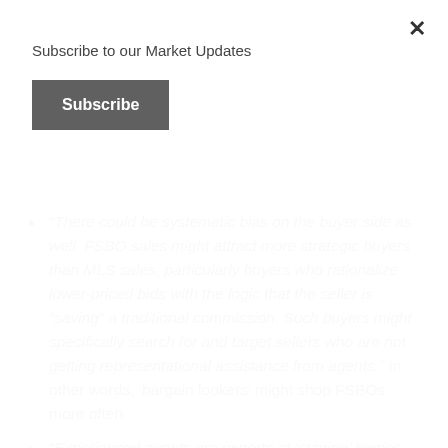Subscribe to our Market Updates
Subscribe
×
“There could be systematic bias on the buyer side as well. FSBO sales might attract more strategic buyers than MLS sales, particularly buyers who rationalize lower-priced bids with the logic that the seller is “saving” a traditional commission. Such buyers might specifically search for and target sellers who are not getting representational assistance from agents.” In other words, ‘bargain lookers’ might shop FSBOs more often.
“Experienced agents are experts at ‘staging’ homes for sale,” which could bring more money...